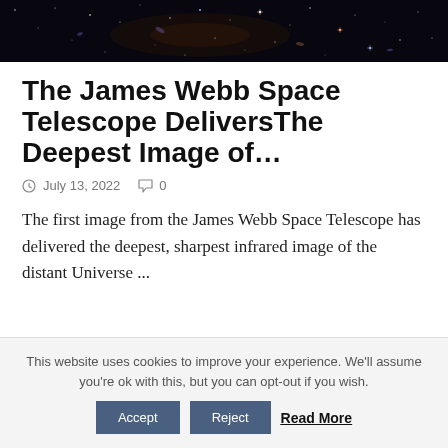[Figure (photo): Deep space image from the James Webb Space Telescope showing distant galaxies against a dark background]
The James Webb Space Telescope DeliversThe Deepest Image of…
July 13, 2022   0
The first image from the James Webb Space Telescope has delivered the deepest, sharpest infrared image of the distant Universe ...
This website uses cookies to improve your experience. We'll assume you're ok with this, but you can opt-out if you wish.  Accept  Reject  Read More